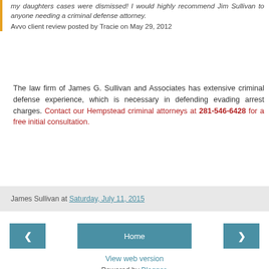my daughters cases were dismissed! I would highly recommend Jim Sullivan to anyone needing a criminal defense attorney. Avvo client review posted by Tracie on May 29, 2012
The law firm of James G. Sullivan and Associates has extensive criminal defense experience, which is necessary in defending evading arrest charges. Contact our Hempstead criminal attorneys at 281-546-6428 for a free initial consultation.
James Sullivan at Saturday, July 11, 2015
Home
View web version
Powered by Blogger.